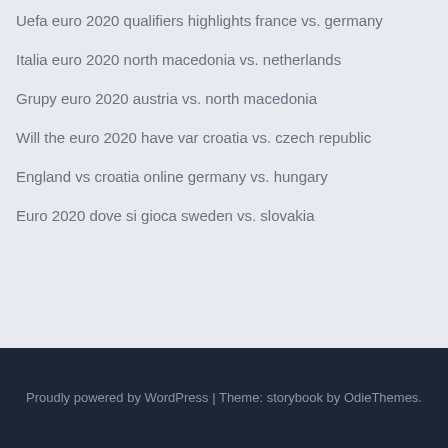Uefa euro 2020 qualifiers highlights france vs. germany
Italia euro 2020 north macedonia vs. netherlands
Grupy euro 2020 austria vs. north macedonia
Will the euro 2020 have var croatia vs. czech republic
England vs croatia online germany vs. hungary
Euro 2020 dove si gioca sweden vs. slovakia
Proudly powered by WordPress | Theme: storybook by OdieThemes.